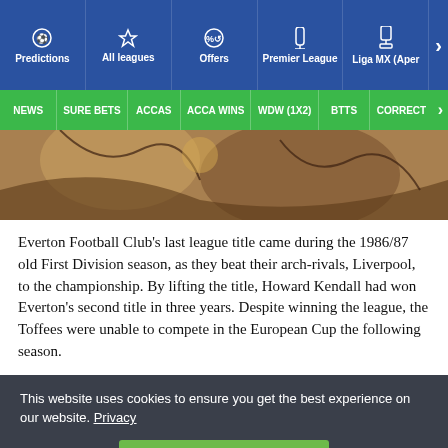Predictions | All leagues | Offers | Premier League | Liga MX (Aper >
NEWS | SURE BETS | ACCAS | ACCA WINS | WDW (1X2) | BTTS | CORRECT >
[Figure (photo): Partial image showing a football-related illustration with brown and tan tones]
Everton Football Club's last league title came during the 1986/87 old First Division season, as they beat their arch-rivals, Liverpool, to the championship. By lifting the title, Howard Kendall had won Everton's second title in three years. Despite winning the league, the Toffees were unable to compete in the European Cup the following season.
This website uses cookies to ensure you get the best experience on our website. Privacy
I agree